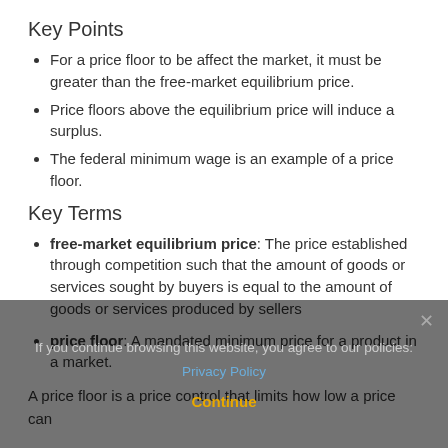Key Points
For a price floor to be affect the market, it must be greater than the free-market equilibrium price.
Price floors above the equilibrium price will induce a surplus.
The federal minimum wage is an example of a price floor.
Key Terms
free-market equilibrium price: The price established through competition such that the amount of goods or services sought by buyers is equal to the amount of goods or services produced by sellers
price floor: A mandated minimum price for a product in a market.
A price floor is a price control that limits how low a price can be charged for a product or service. Generally floors are set by governments although businesses or other organizations can set price floors as well. The purpose of a price floor is to protect producers of a certain good or service. By
If you continue browsing this website, you agree to our policies: Privacy Policy Continue